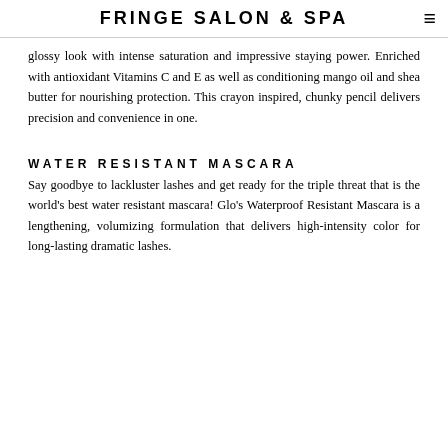FRINGE SALON & SPA
glossy look with intense saturation and impressive staying power. Enriched with antioxidant Vitamins C and E as well as conditioning mango oil and shea butter for nourishing protection. This crayon inspired, chunky pencil delivers precision and convenience in one.
WATER RESISTANT MASCARA
Say goodbye to lackluster lashes and get ready for the triple threat that is the world's best water resistant mascara! Glo's Waterproof Resistant Mascara is a lengthening, volumizing formulation that delivers high-intensity color for long-lasting dramatic lashes.